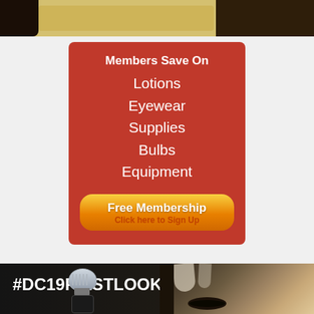[Figure (photo): Top strip photo showing dark objects on warm beige/gold background]
[Figure (infographic): Red advertisement box: Members Save On Lotions Eyewear Supplies Bulbs Equipment with Free Membership button]
Members Save On
Lotions
Eyewear
Supplies
Bulbs
Equipment
Free Membership
Click here to Sign Up
[Figure (photo): Dark background with #DC19FIRSTLOOK hashtag text, tanning bulb lamp on left, woman's face with stylized hair on right]